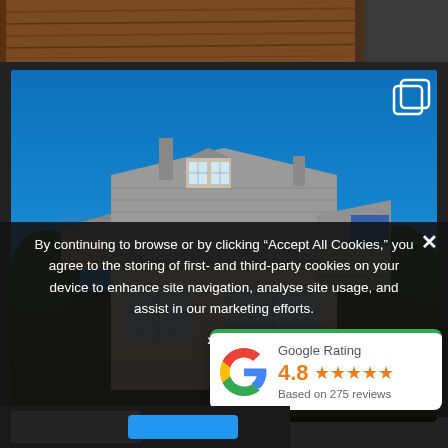[Figure (photo): Top strip: wooden floor/table surface with dark grey furniture on right side]
[Figure (photo): Photo of a detached house with cream/yellow walls and grey tiled roof against a bright blue sky, surrounded by other houses and trees. A copy/gallery icon appears in the top right corner of the photo.]
By continuing to browse or by clicking “Accept All Cookies,” you agree to the storing of first- and third-party cookies on your device to enhance site navigation, analyse site usage, and assist in our marketing efforts.
› Priv...
[Figure (other): Google Rating widget: green top border, Google G logo, rating '4.8' in orange with 5 orange stars, text 'Based on 275 reviews' in grey, title 'Google Rating' in grey]